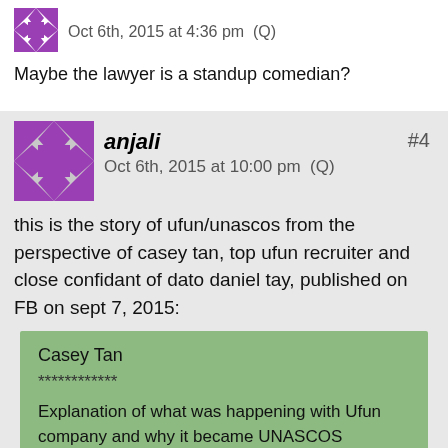[Figure (illustration): Small purple geometric avatar icon for anonymous user]
Oct 6th, 2015 at 4:36 pm  (Q)
Maybe the lawyer is a standup comedian?
[Figure (illustration): Large purple geometric avatar icon for user anjali]
anjali
#4
Oct 6th, 2015 at 10:00 pm  (Q)
this is the story of ufun/unascos from the perspective of casey tan, top ufun recruiter and close confidant of dato daniel tay, published on FB on sept 7, 2015:
Casey Tan

************

Explanation of what was happening with Ufun company and why it became UNASCOS Objasnjenje sta se sve desavalo sa UFUN kompanijom i zasto je ona postala UNASCOS *********************It happened 10 April 201510th*********************

This Date 10th April 2015 will always be significant and historic when we look back into Unascos history